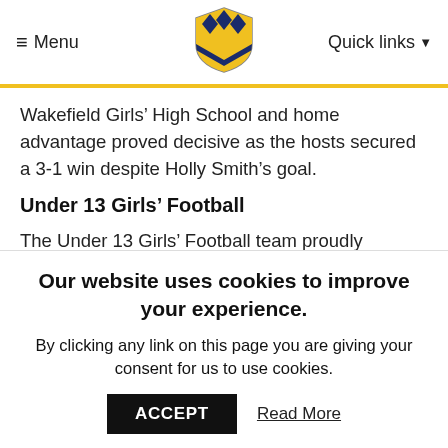≡ Menu  [Shield Logo]  Quick links ▾
Wakefield Girls' High School and home advantage proved decisive as the hosts secured a 3-1 win despite Holly Smith's goal.
Under 13 Girls' Football
The Under 13 Girls' Football team proudly reached the Quarter Finals of the Sisters n Sport National Plate Competition.
After receiving a bye in Round One of the
Our website uses cookies to improve your experience.
By clicking any link on this page you are giving your consent for us to use cookies.  ACCEPT  Read More